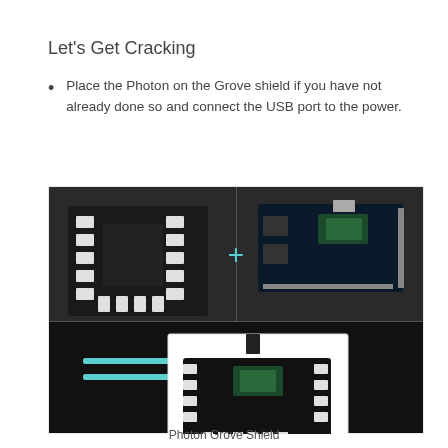Let's Get Cracking
Place the Photon on the Grove shield if you have not already done so and connect the USB port to the power.
[Figure (photo): Composite photo showing a Grove Shield board (top left) plus a Photon microcontroller board (top right), with an equals sign on the lower left and the assembled Photon Grove Shield (lower center), demonstrating how to combine the two components.]
Photon Grove Shield